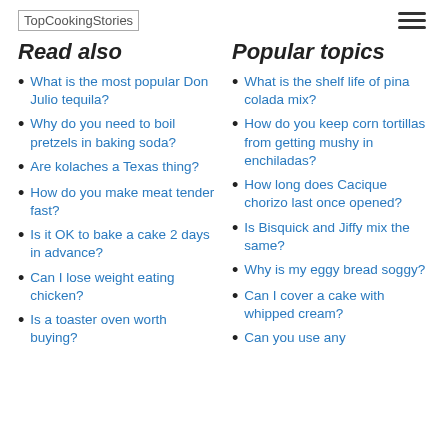TopCookingStories
Read also
Popular topics
What is the most popular Don Julio tequila?
Why do you need to boil pretzels in baking soda?
Are kolaches a Texas thing?
How do you make meat tender fast?
Is it OK to bake a cake 2 days in advance?
Can I lose weight eating chicken?
Is a toaster oven worth buying?
What is the shelf life of pina colada mix?
How do you keep corn tortillas from getting mushy in enchiladas?
How long does Cacique chorizo last once opened?
Is Bisquick and Jiffy mix the same?
Why is my eggy bread soggy?
Can I cover a cake with whipped cream?
Can you use any